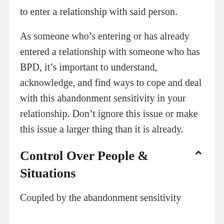to enter a relationship with said person.
As someone who’s entering or has already entered a relationship with someone who has BPD, it’s important to understand, acknowledge, and find ways to cope and deal with this abandonment sensitivity in your relationship. Don’t ignore this issue or make this issue a larger thing than it is already.
Control Over People & Situations
Coupled by the abandonment sensitivity